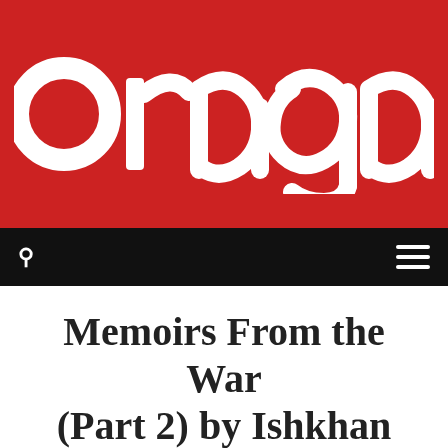[Figure (logo): Oragark logo — white bold text 'Oragark' on red background]
Navigation bar with search icon and hamburger menu
Memoirs From the War (Part 2) by Ishkhan Saghatelyan